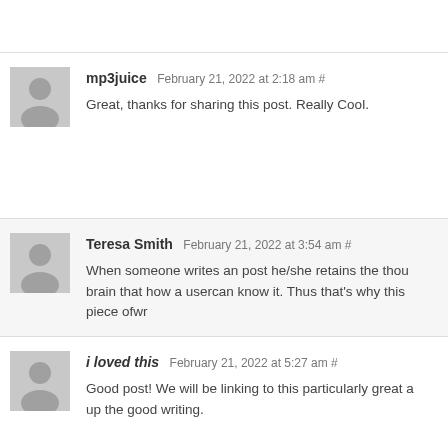mp3juice February 21, 2022 at 2:18 am # Great, thanks for sharing this post. Really Cool.
Teresa Smith February 21, 2022 at 3:54 am # When someone writes an post he/she retains the thought in his/her brain that how a usercan know it. Thus that's why this piece ofwr
i loved this February 21, 2022 at 5:27 am # Good post! We will be linking to this particularly great a up the good writing.